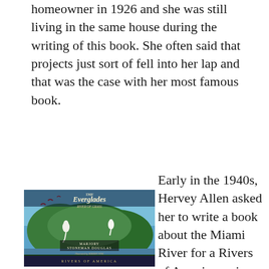homeowner in 1926 and she was still living in the same house during the writing of this book. She often said that projects just sort of fell into her lap and that was the case with her most famous book.
[Figure (illustration): Book cover of 'The Everglades: River of Grass' by Marjory Stoneman Douglas, featuring a painting of egrets and Everglades scenery, labeled 'Rivers of America' series at the bottom.]
Early in the 1940s, Hervey Allen asked her to write a book about the Miami River for a Rivers of America series. She recalls responding by saying, “Hervey, you can’t write a book about the Miami River. It’s only about an inch long.” She thought the Miami River and the Everglades were connected and she suggested